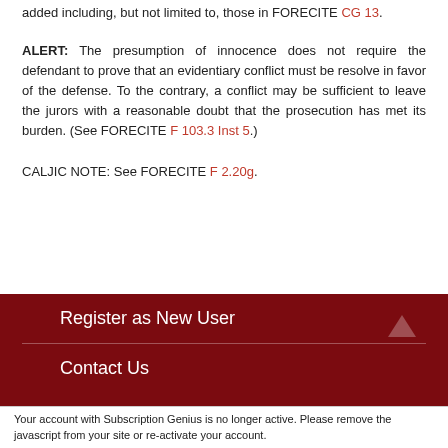added including, but not limited to, those in FORECITE CG 13.
ALERT: The presumption of innocence does not require the defendant to prove that an evidentiary conflict must be resolve in favor of the defense. To the contrary, a conflict may be sufficient to leave the jurors with a reasonable doubt that the prosecution has met its burden. (See FORECITE F 103.3 Inst 5.)
CALJIC NOTE: See FORECITE F 2.20g.
Register as New User
Contact Us
Your account with Subscription Genius is no longer active. Please remove the javascript from your site or re-activate your account.